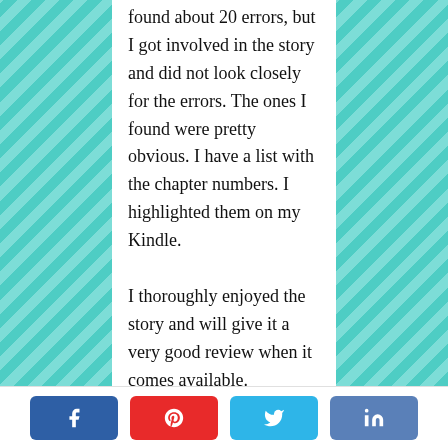found about 20 errors, but I got involved in the story and did not look closely for the errors. The ones I found were pretty obvious. I have a list with the chapter numbers. I highlighted them on my Kindle.
I thoroughly enjoyed the story and will give it a very good review when it comes available.
Reply
[Figure (other): Social share buttons: Facebook, Pinterest, Twitter, LinkedIn]